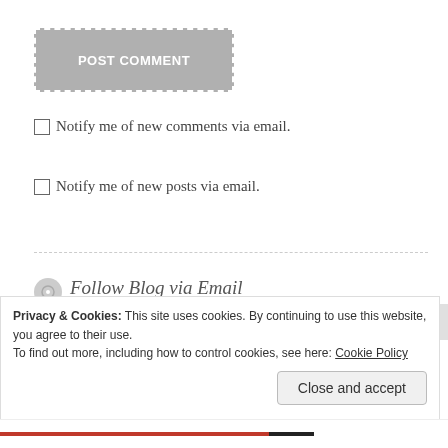[Figure (other): POST COMMENT button with dashed white border on grey background]
Notify me of new comments via email.
Notify me of new posts via email.
Follow Blog via Email
Enter your email address to follow this blog and receive notifications of new posts by email.
Privacy & Cookies: This site uses cookies. By continuing to use this website, you agree to their use.
To find out more, including how to control cookies, see here: Cookie Policy